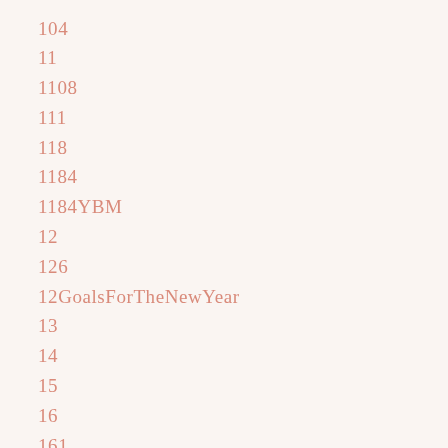104
11
1108
111
118
1184
1184YBM
12
126
12GoalsForTheNewYear
13
14
15
16
161